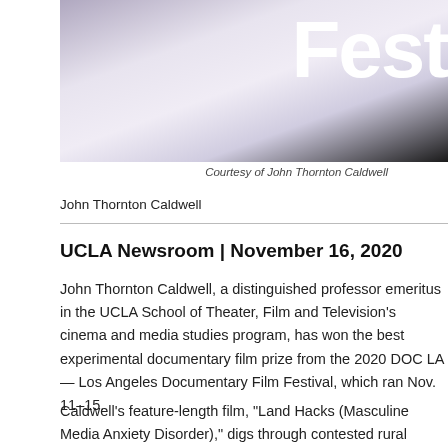[Figure (photo): Person in white shirt at a festival event, with partial 'Fest' text visible on signage in the background]
Courtesy of John Thornton Caldwell
John Thornton Caldwell
UCLA Newsroom | November 16, 2020
John Thornton Caldwell, a distinguished professor emeritus in the UCLA School of Theater, Film and Television's cinema and media studies program, has won the best experimental documentary film prize from the 2020 DOC LA — Los Angeles Documentary Film Festival, which ran Nov. 11–15.
Caldwell's feature-length film, “Land Hacks (Masculine Media Anxiety Disorder),” digs through contested rural landscapes as a way of unpacking the mutual contempt